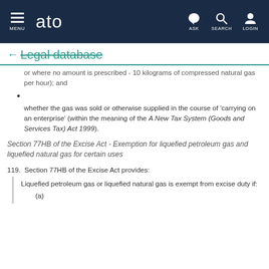ato  MENU  ASK  SEARCH  LOGIN
← Legal database
or where no amount is prescribed - 10 kilograms of compressed natural gas per hour); and
whether the gas was sold or otherwise supplied in the course of 'carrying on an enterprise' (within the meaning of the A New Tax System (Goods and Services Tax) Act 1999).
Section 77HB of the Excise Act - Exemption for liquefied petroleum gas and liquefied natural gas for certain uses
119. Section 77HB of the Excise Act provides:
Liquefied petroleum gas or liquefied natural gas is exempt from excise duty if:
(a)